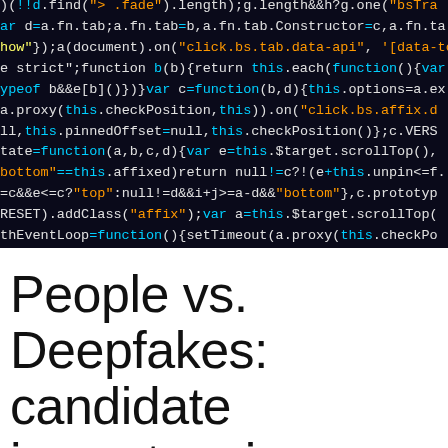[Figure (screenshot): Dark background code screenshot showing JavaScript/jQuery source code with syntax highlighting in white, cyan, orange, and yellow colors. Code includes references to fade, tab, constructor, click handlers, checkPosition, scrollTop, affix, and other jQuery bootstrap plugin methods.]
People vs. Deepfakes: candidate imposters in hiring